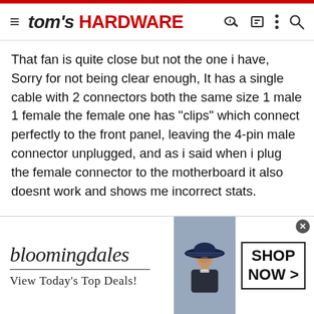tom's HARDWARE
That fan is quite close but not the one i have, Sorry for not being clear enough, It has a single cable with 2 connectors both the same size 1 male 1 female the female one has "clips" which connect perfectly to the front panel, leaving the 4-pin male connector unplugged, and as i said when i plug the female connector to the motherboard it also doesnt work and shows me incorrect stats.
[Figure (illustration): Bloomingdale's advertisement banner showing logo, tagline 'View Today's Top Deals!', a woman in a large blue hat, and a 'SHOP NOW >' button]